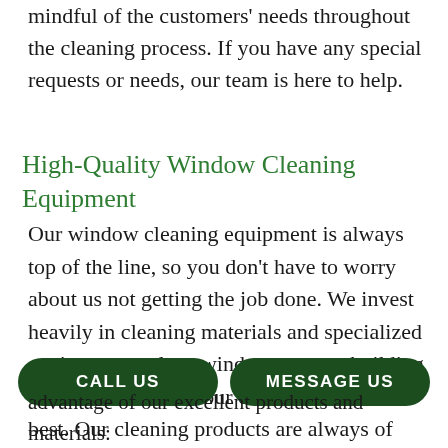mindful of the customers' needs throughout the cleaning process. If you have any special requests or needs, our team is here to help.
High-Quality Window Cleaning Equipment
Our window cleaning equipment is always top of the line, so you don't have to worry about us not getting the job done. We invest heavily in cleaning materials and specialized equipment to clean windows on any building because we believe our clients deserve the best. Our cleaning products are always of commercial-grade quality so that we can deliver superior results and service, every time.
CALL US
MESSAGE US
advantage of our excellent products and materials: